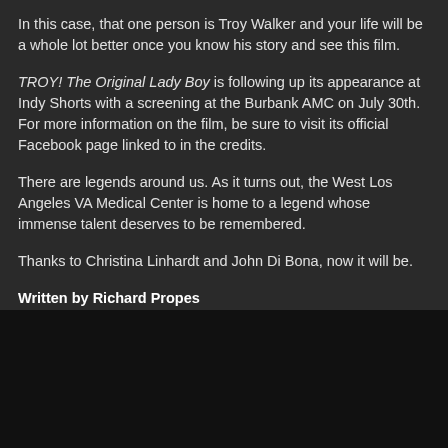In this case, that one person is Troy Walker and your life will be a whole lot better once you know his story and see this film.
TROY! The Original Lady Boy is following up its appearance at Indy Shorts with a screening at the Burbank AMC on July 30th. For more information on the film, be sure to visit its official Facebook page linked to in the credits.
There are legends around us. As it turns out, the West Los Angeles VA Medical Center is home to a legend whose immense talent deserves to be remembered.
Thanks to Christina Linhardt and John Di Bona, now it will be.
Written by Richard Propes
The Independent Critic